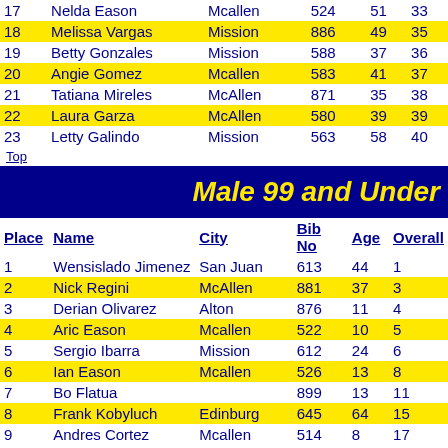| Place | Name | City | Bib No | Age | Overall |
| --- | --- | --- | --- | --- | --- |
| 17 | Nelda Eason | Mcallen | 524 | 51 | 33 |
| 18 | Melissa Vargas | Mission | 886 | 49 | 35 |
| 19 | Betty Gonzales | Mission | 588 | 37 | 36 |
| 20 | Angie Gomez | Mcallen | 583 | 41 | 37 |
| 21 | Tatiana Mireles | McAllen | 871 | 35 | 38 |
| 22 | Laura Garza | McAllen | 580 | 39 | 39 |
| 23 | Letty Galindo | Mission | 563 | 58 | 40 |
Top
Male 99 and Under
| Place | Name | City | Bib No | Age | Overall |
| --- | --- | --- | --- | --- | --- |
| 1 | Wensislado Jimenez | San Juan | 613 | 44 | 1 |
| 2 | Nick Regini | McAllen | 881 | 37 | 3 |
| 3 | Derian Olivarez | Alton | 876 | 11 | 4 |
| 4 | Aric Eason | Mcallen | 522 | 10 | 5 |
| 5 | Sergio Ibarra | Mission | 612 | 24 | 6 |
| 6 | Ian Eason | Mcallen | 526 | 13 | 8 |
| 7 | Bo Flatua |  | 899 | 13 | 11 |
| 8 | Frank Kobyluch | Edinburg | 645 | 64 | 15 |
| 9 | Andres Cortez | Mcallen | 514 | 8 | 17 |